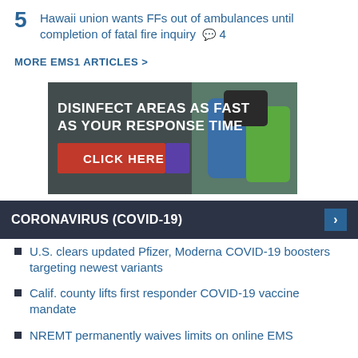5  Hawaii union wants FFs out of ambulances until completion of fatal fire inquiry  💬 4
MORE EMS1 ARTICLES >
[Figure (photo): Advertisement banner showing person in protective gear with text: DISINFECT AREAS AS FAST AS YOUR RESPONSE TIME and a CLICK HERE button]
CORONAVIRUS (COVID-19)
U.S. clears updated Pfizer, Moderna COVID-19 boosters targeting newest variants
Calif. county lifts first responder COVID-19 vaccine mandate
NREMT permanently waives limits on online EMS